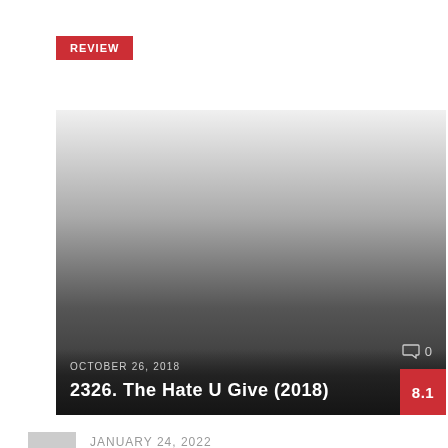REVIEW
[Figure (photo): Dark gradient card image with a film/movie scene, fading from light gray at top to dark at bottom]
OCTOBER 26, 2018
2326. The Hate U Give (2018)
0
8.1
POPULAR POSTS
JANUARY 24, 2022